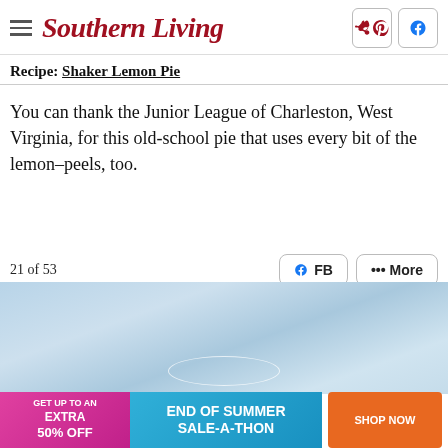Southern Living
Recipe: Shaker Lemon Pie
You can thank the Junior League of Charleston, West Virginia, for this old-school pie that uses every bit of the lemon–peels, too.
21 of 53
[Figure (photo): Blurred blue background photo, likely showing a lemon pie on a light blue textured surface]
[Figure (infographic): Advertisement banner: GET UP TO AN EXTRA 50% OFF | END OF SUMMER SALE-A-THON | SHOP NOW]